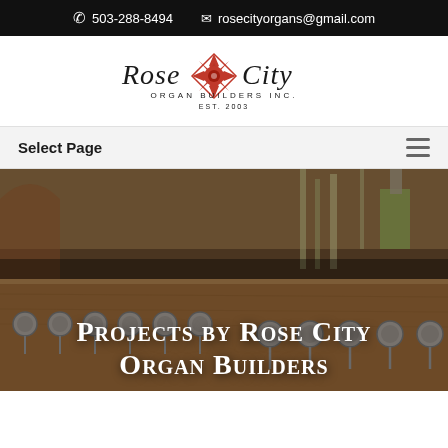503-288-8494   rosecityorgans@gmail.com
[Figure (logo): Rose City Organ Builders Inc. logo with red rose emblem and stylized text, Est. 2003]
Select Page
[Figure (photo): Workshop photo showing organ pipes and mechanical components on a wooden surface with tools in the background]
Projects by Rose City Organ Builders